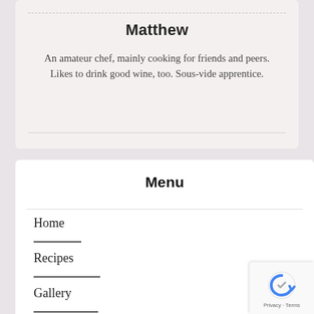Matthew
An amateur chef, mainly cooking for friends and peers. Likes to drink good wine, too. Sous-vide apprentice.
Menu
Home
Recipes
Gallery
About